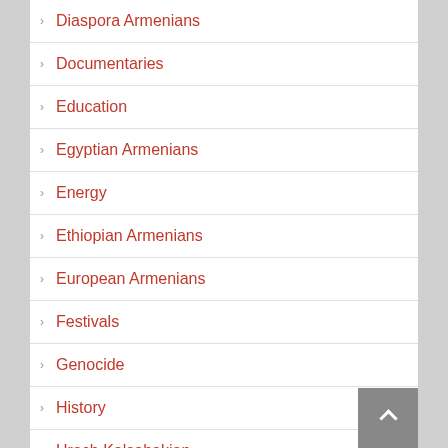Diaspora Armenians
Documentaries
Education
Egyptian Armenians
Energy
Ethiopian Armenians
European Armenians
Festivals
Genocide
History
Hrach Kalsahakian
Indian Armenians